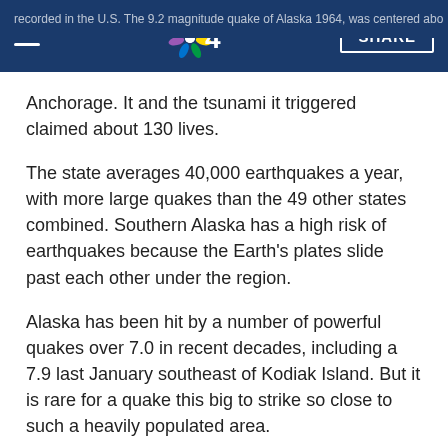NBC News header bar with hamburger menu, NBC 4 logo, and SHARE button
Anchorage. It and the tsunami it triggered claimed about 130 lives.
The state averages 40,000 earthquakes a year, with more large quakes than the 49 other states combined. Southern Alaska has a high risk of earthquakes because the Earth's plates slide past each other under the region.
Alaska has been hit by a number of powerful quakes over 7.0 in recent decades, including a 7.9 last January southeast of Kodiak Island. But it is rare for a quake this big to strike so close to such a heavily populated area.
David Harper was getting coffee at a store when the low rumble began and intensified into something that sounded